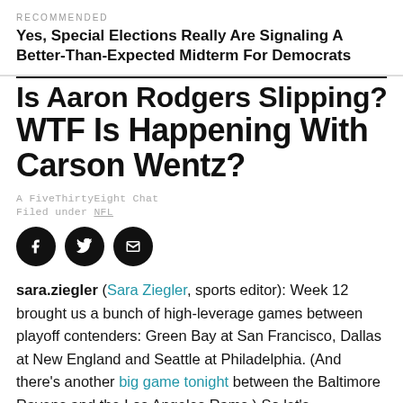RECOMMENDED
Yes, Special Elections Really Are Signaling A Better-Than-Expected Midterm For Democrats
Is Aaron Rodgers Slipping? And WTF Is Happening With Carson Wentz?
A FiveThirtyEight Chat
Filed under NFL
[Figure (infographic): Three black circular social sharing buttons: Facebook (f), Twitter (bird), and Email (envelope)]
sara.ziegler (Sara Ziegler, sports editor): Week 12 brought us a bunch of high-leverage games between playoff contenders: Green Bay at San Francisco, Dallas at New England and Seattle at Philadelphia. (And there's another big game tonight between the Baltimore Ravens and the Los Angeles Rams.) So let's